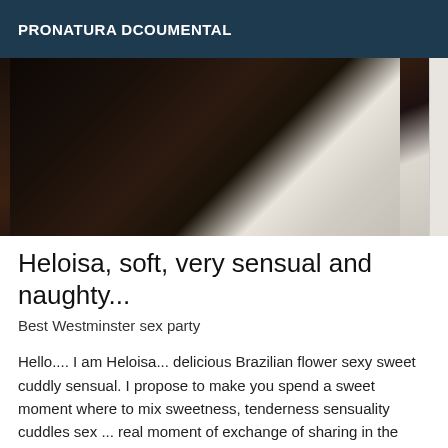PRONATURA DCOUMENTAL
[Figure (photo): Close-up dark photograph showing hands or body parts against a light/white background, partially obscured]
Heloisa, soft, very sensual and naughty...
Best Westminster sex party
Hello.... I am Heloisa... delicious Brazilian flower sexy sweet cuddly sensual. I propose to make you spend a sweet moment where to mix sweetness, tenderness sensuality cuddles sex ... real moment of exchange of sharing in the discretion and the most total respect. I kiss (if oral hygiene on the appointment) Protected vaginal penetration, I do anal (a plus) not oral and facial ejaculations. Nice to meet you, Heloisa